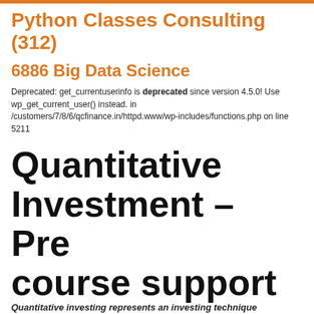Python Classes Consulting (312)
6886 Big Data Science
Deprecated: get_currentuserinfo is deprecated since version 4.5.0! Use wp_get_current_user() instead. in /customers/7/8/6/qcfinance.in/httpd.www/wp-includes/functions.php on line 5211
Quantitative Investment – Pre course support
Quantitative investing represents an investing technique